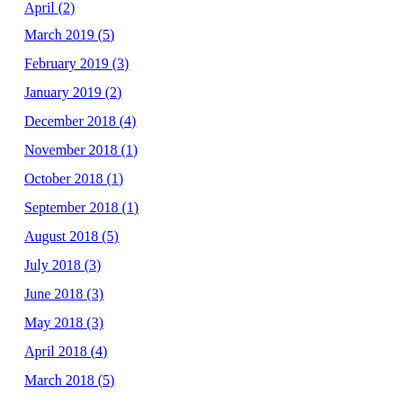April (2)
March 2019 (5)
February 2019 (3)
January 2019 (2)
December 2018 (4)
November 2018 (1)
October 2018 (1)
September 2018 (1)
August 2018 (5)
July 2018 (3)
June 2018 (3)
May 2018 (3)
April 2018 (4)
March 2018 (5)